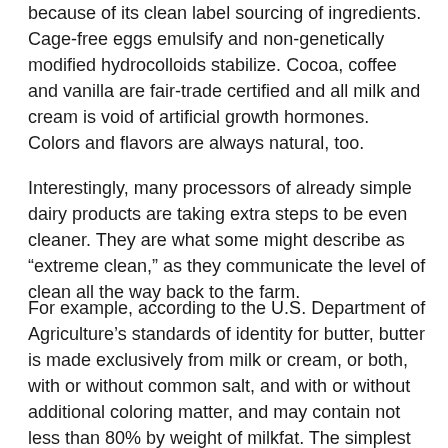because of its clean label sourcing of ingredients. Cage-free eggs emulsify and non-genetically modified hydrocolloids stabilize. Cocoa, coffee and vanilla are fair-trade certified and all milk and cream is void of artificial growth hormones. Colors and flavors are always natural, too.
Interestingly, many processors of already simple dairy products are taking extra steps to be even cleaner. They are what some might describe as “extreme clean,” as they communicate the level of clean all the way back to the farm.
For example, according to the U.S. Department of Agriculture’s standards of identity for butter, butter is made exclusively from milk or cream, or both, with or without common salt, and with or without additional coloring matter, and may contain not less than 80% by weight of milkfat. The simplest butter ingredient statement may read: cream.